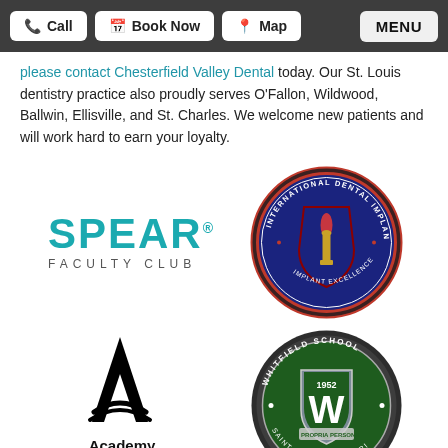Call | Book Now | Map | MENU
please contact Chesterfield Valley Dental today. Our St. Louis dentistry practice also proudly serves O'Fallon, Wildwood, Ballwin, Ellisville, and St. Charles. We welcome new patients and will work hard to earn your loyalty.
[Figure (logo): SPEAR FACULTY CLUB logo in teal/cyan color]
[Figure (logo): International Dental Implant Association circular seal/badge in navy blue and red]
[Figure (logo): Academy of General Dentistry logo with black letter A]
[Figure (logo): Whitfield School 1952 circular seal, Saint Louis Missouri, In Propria Persona]